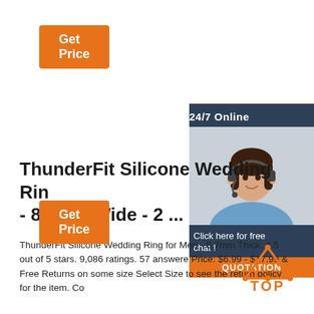[Figure (other): Orange 'Get Price' button at top left]
[Figure (other): Sidebar with '24/7 Online' header, photo of woman with headset, 'Click here for free chat!' text, and orange QUOTATION button]
ThunderFit Silicone Wedding Rin - 8.7mm Wide - 2 ...
ThunderFit Silicone Wedding Ring for Men - 8.7mm Thick. 4.5 out of 5 stars. 9,086 ratings. 57 answere Price: $6.99 - $17.99 & Free Returns on some size Select Size to see the return policy for the item. Co
[Figure (other): Orange 'Get Price' button at bottom left]
[Figure (logo): TOP logo with orange triangle/arrow icon and TOP text in orange]